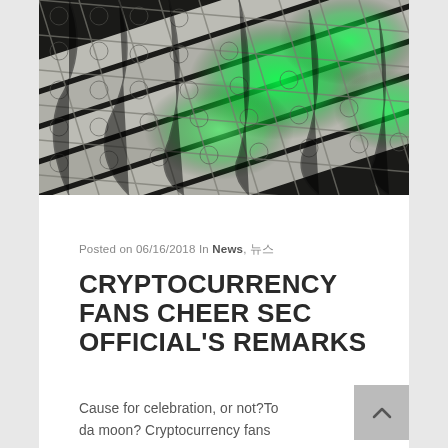[Figure (photo): Overhead view of cryptocurrency mining hardware racks with green LED lights glowing through the cooling fans arranged in a grid pattern]
Posted on 06/16/2018 In News, 뉴스
CRYPTOCURRENCY FANS CHEER SEC OFFICIAL'S REMARKS
Cause for celebration, or not?To da moon? Cryptocurrency fans